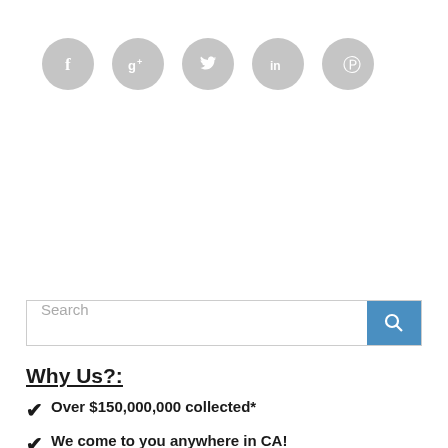[Figure (other): Five gray circular social media icons: Facebook (f), Google+ (g+), Twitter (bird), LinkedIn (in), Pinterest (p)]
[Figure (other): Search bar with placeholder text 'Search' and a blue search button with magnifying glass icon]
Why Us?:
Over $150,000,000 collected*
We come to you anywhere in CA!
Book inontinual leading offices